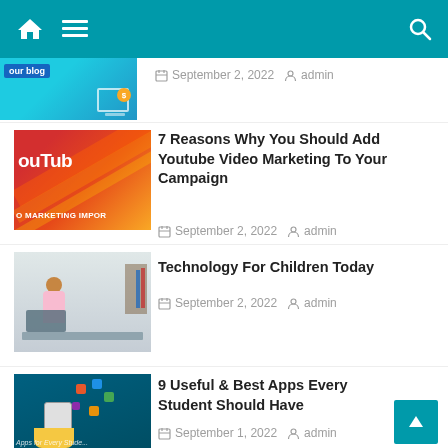[Figure (screenshot): Mobile blog website navigation bar with home icon, hamburger menu, and search icon on teal background]
[Figure (screenshot): Partially visible blog article thumbnail showing 'your blog' text with SEO/marketing graphics]
September 2, 2022   admin
[Figure (screenshot): YouTube marketing thumbnail with colorful diagonal stripes, text 'ouTube' and 'O MARKETING IMPOR']
7 Reasons Why You Should Add Youtube Video Marketing To Your Campaign
September 2, 2022   admin
[Figure (photo): Young girl waving at laptop screen, sitting at desk with bookshelf in background]
Technology For Children Today
September 2, 2022   admin
[Figure (screenshot): Teal background with illustrated hand holding smartphone with app icons floating out]
9 Useful & Best Apps Every Student Should Have
September 1, 2022   admin